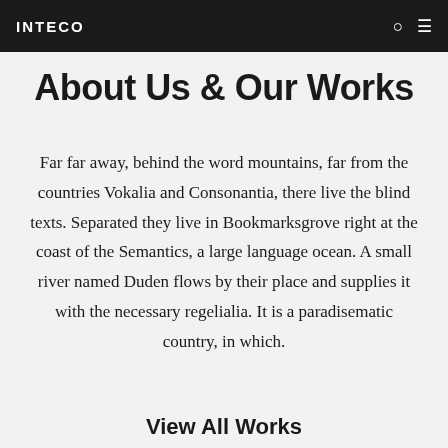INTECO
About Us & Our Works
Far far away, behind the word mountains, far from the countries Vokalia and Consonantia, there live the blind texts. Separated they live in Bookmarksgrove right at the coast of the Semantics, a large language ocean. A small river named Duden flows by their place and supplies it with the necessary regelialia. It is a paradisematic country, in which.
View All Works